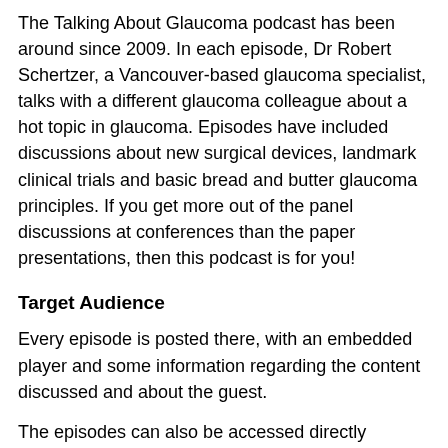The Talking About Glaucoma podcast has been around since 2009. In each episode, Dr Robert Schertzer, a Vancouver-based glaucoma specialist, talks with a different glaucoma colleague about a hot topic in glaucoma. Episodes have included discussions about new surgical devices, landmark clinical trials and basic bread and butter glaucoma principles. If you get more out of the panel discussions at conferences than the paper presentations, then this podcast is for you!
Target Audience
Every episode is posted there, with an embedded player and some information regarding the content discussed and about the guest.
The episodes can also be accessed directly through the major podcast platforms: Spotify, Apple Podcasts, or a direct link to the website wholelottarob.com/tag-mp3 and https://www.wholelottarob.com/tag-aac